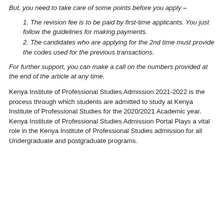But, you need to take care of some points before you apply –
1. The revision fee is to be paid by first-time applicants. You just follow the guidelines for making payments.
2. The candidates who are applying for the 2nd time must provide the codes used for the previous transactions.
For further support, you can make a call on the numbers provided at the end of the article at any time.
Kenya Institute of Professional Studies Admission 2021-2022 is the process through which students are admitted to study at Kenya Institute of Professional Studies for the 2020/2021 Academic year. Kenya Institute of Professional Studies Admission Portal Plays a vital role in the Kenya Institute of Professional Studies admission for all Undergraduate and postgraduate programs.